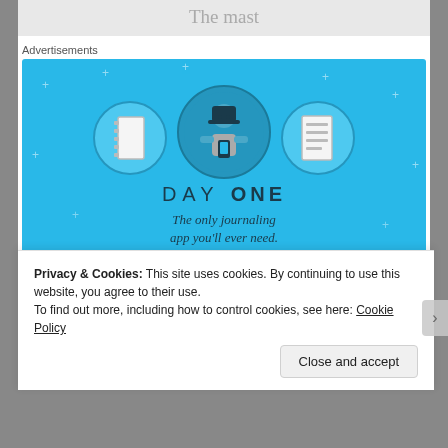The mast
Advertisements
[Figure (illustration): Day One journaling app advertisement. Blue background with sparkle dots. Three circular icons: a notebook on left, a person holding a phone in center, a checklist on right. Text: DAY ONE - The only journaling app you'll ever need. Button: Get the app.]
Privacy & Cookies: This site uses cookies. By continuing to use this website, you agree to their use.
To find out more, including how to control cookies, see here: Cookie Policy
Close and accept